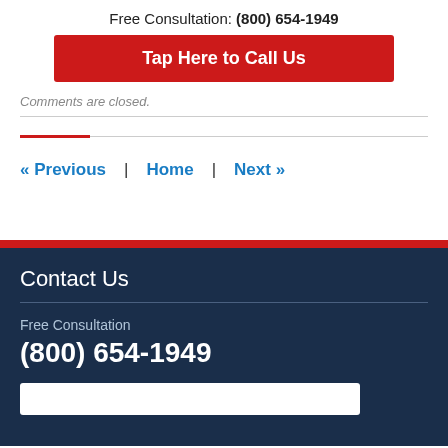Free Consultation: (800) 654-1949
Tap Here to Call Us
Comments are closed.
« Previous | Home | Next »
Contact Us
Free Consultation
(800) 654-1949